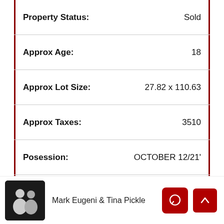Property Status: Sold
Approx Age: 18
Approx Lot Size: 27.82 x 110.63
Approx Taxes: 3510
Posession: OCTOBER 12/21'
Sewer Type: SANITARY CONNECTED
Mark Eugeni & Tina Pickle